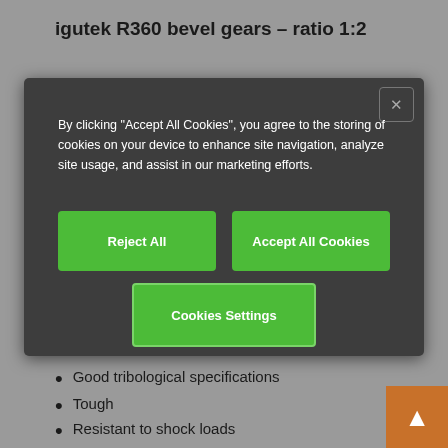igutek R360 bevel gears – ratio 1:2
[Figure (screenshot): Cookie consent modal dialog with dark background. Contains text: 'By clicking "Accept All Cookies", you agree to the storing of cookies on your device to enhance site navigation, analyze site usage, and assist in our marketing efforts.' Three buttons: 'Reject All', 'Accept All Cookies', 'Cookies Settings'. Close button (X) in top-right corner.]
Good tribological specifications
Tough
Resistant to shock loads
Please note: in order to achieve the desired transmission ratio, two bevel gears must be ordered.